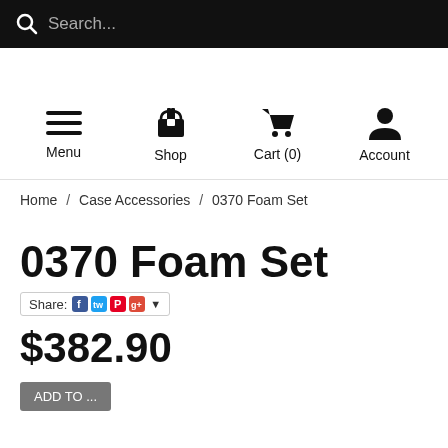Search...
[Figure (other): Navigation icons: Menu (hamburger), Shop (gift box), Cart (0) (shopping cart), Account (person silhouette)]
Home / Case Accessories / 0370 Foam Set
0370 Foam Set
Share: [Facebook] [Twitter] [Pinterest] [Google+] ▼
$382.90